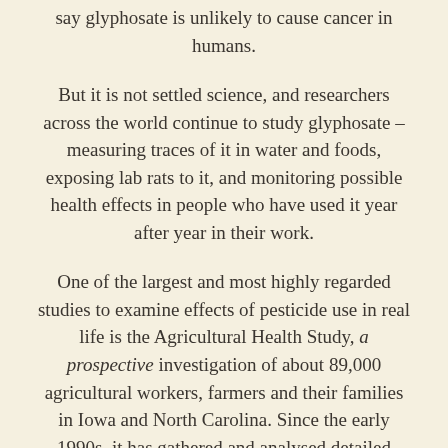say glyphosate is unlikely to cause cancer in humans.
But it is not settled science, and researchers across the world continue to study glyphosate – measuring traces of it in water and foods, exposing lab rats to it, and monitoring possible health effects in people who have used it year after year in their work.
One of the largest and most highly regarded studies to examine effects of pesticide use in real life is the Agricultural Health Study, a prospective investigation of about 89,000 agricultural workers, farmers and their families in Iowa and North Carolina. Since the early 1990s, it has gathered and analysed detailed information on the health of participants and their families, and their use of pesticides, including glyphosate.